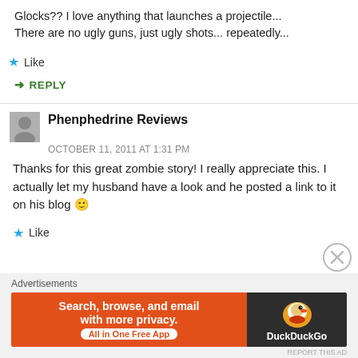Glocks?? I love anything that launches a projectile... There are no ugly guns, just ugly shots... repeatedly...
Like
REPLY
Phenphedrine Reviews
OCTOBER 11, 2011 AT 1:31 PM
Thanks for this great zombie story! I really appreciate this. I actually let my husband have a look and he posted a link to it on his blog 🙂
Like
[Figure (other): Close/dismiss circle button (X icon)]
Advertisements
[Figure (other): DuckDuckGo advertisement banner: Search, browse, and email with more privacy. All in One Free App. DuckDuckGo logo on dark background.]